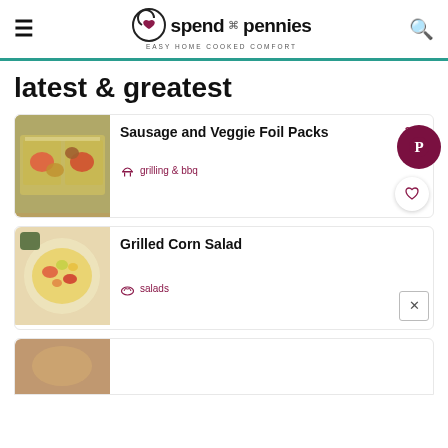spend with pennies — EASY HOME COOKED COMFORT
latest & greatest
Sausage and Veggie Foil Packs
grilling & bbq
209
Grilled Corn Salad
salads